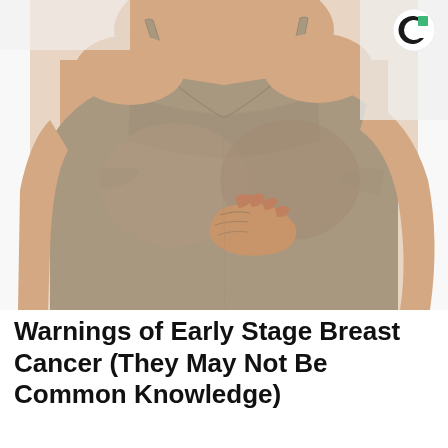[Figure (photo): A woman in a grey spaghetti-strap tank top performing a self breast examination, pressing her hand against her chest. The photo is cropped from shoulders to waist on a white background.]
[Figure (logo): Circular logo with a black letter C and a small green square accent in the upper right quadrant.]
Warnings of Early Stage Breast Cancer (They May Not Be Common Knowledge)